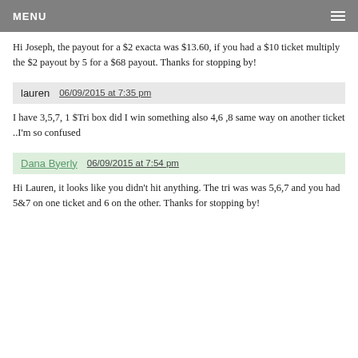MENU
Hi Joseph, the payout for a $2 exacta was $13.60, if you had a $10 ticket multiply the $2 payout by 5 for a $68 payout. Thanks for stopping by!
lauren  06/09/2015 at 7:35 pm
I have 3,5,7, 1 $Tri box did I win something also 4,6 ,8 same way on another ticket ..I'm so confused
Dana Byerly  06/09/2015 at 7:54 pm
Hi Lauren, it looks like you didn't hit anything. The tri was was 5,6,7 and you had 5&7 on one ticket and 6 on the other. Thanks for stopping by!